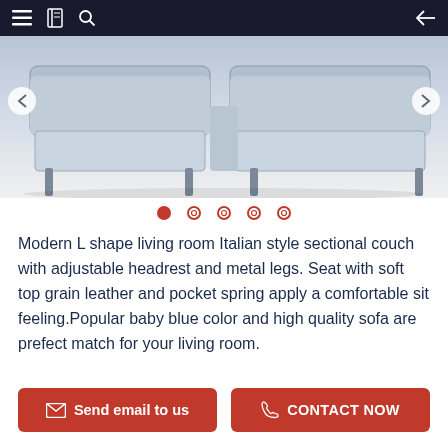[Figure (photo): Product photo of a modern L-shape sectional sofa in baby blue color with metal legs, shown from above/side angle on white background. Navigation arrows on left and right sides.]
Modern L shape living room Italian style sectional couch with adjustable headrest and metal legs. Seat with soft top grain leather and pocket spring apply a comfortable sit feeling.Popular baby blue color and high quality sofa are prefect match for your living room.
Send email to us
CONTACT NOW